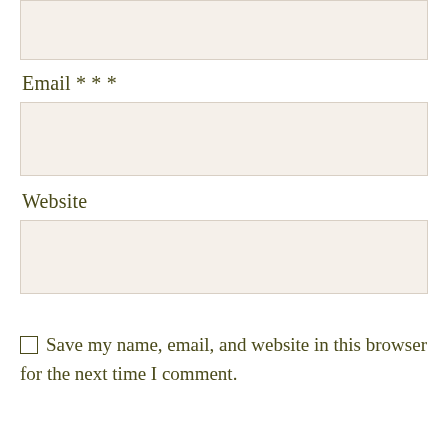Email * * *
Website
Save my name, email, and website in this browser for the next time I comment.